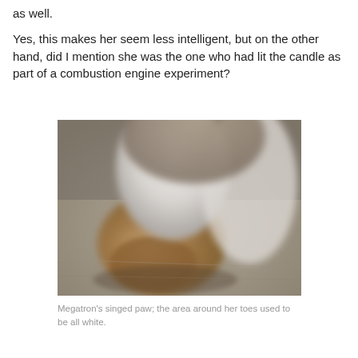as well.

Yes, this makes her seem less intelligent, but on the other hand, did I mention she was the one who had lit the candle as part of a combustion engine experiment?
[Figure (photo): Close-up blurry photo of a cat's paw resting on a surface. The paw appears to have brown/tan singed fur around the toes, with white fur on the leg above. The background is a muted grey-beige surface.]
Megatron's singed paw; the area around her toes used to be all white.